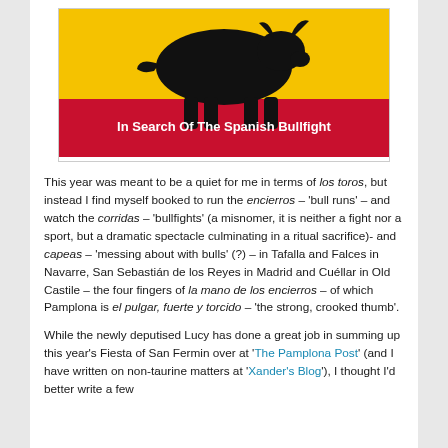[Figure (illustration): Book cover illustration: black silhouette of a bull against a yellow and red background (Spanish flag colors). White bold text at the bottom reads 'In Search Of The Spanish Bullfight'.]
This year was meant to be a quiet for me in terms of los toros, but instead I find myself booked to run the encierros – 'bull runs' – and watch the corridas – 'bullfights' (a misnomer, it is neither a fight nor a sport, but a dramatic spectacle culminating in a ritual sacrifice)- and capeas – 'messing about with bulls' (?) – in Tafalla and Falces in Navarre, San Sebastián de los Reyes in Madrid and Cuéllar in Old Castile – the four fingers of la mano de los encierros – of which Pamplona is el pulgar, fuerte y torcido – 'the strong, crooked thumb'.
While the newly deputised Lucy has done a great job in summing up this year's Fiesta of San Fermin over at 'The Pamplona Post' (and I have written on non-taurine matters at 'Xander's Blog'), I thought I'd better write a few